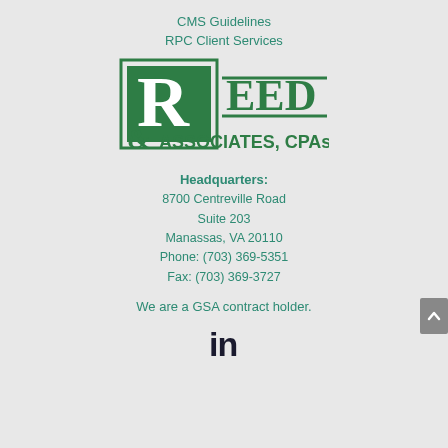CMS Guidelines
RPC Client Services
[Figure (logo): Reed & Associates, CPAs logo — green block letter R with ampersand, green horizontal lines, text 'REED & ASSOCIATES, CPAs']
Headquarters:
8700 Centreville Road
Suite 203
Manassas, VA 20110
Phone: (703) 369-5351
Fax: (703) 369-3727
We are a GSA contract holder.
[Figure (logo): LinkedIn 'in' logo icon]